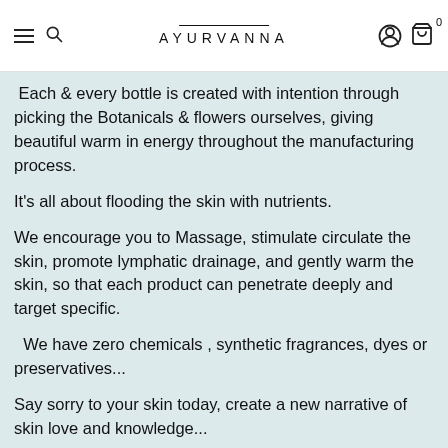AYURVANNA
Each & every bottle is created with intention through picking the Botanicals & flowers ourselves, giving beautiful warm in energy throughout the manufacturing process.
It's all about flooding the skin with nutrients.
We encourage you to Massage, stimulate circulate the skin, promote lymphatic drainage, and gently warm the skin, so that each product can penetrate deeply and target specific.
We have zero chemicals , synthetic fragrances, dyes or preservatives...
Say sorry to your skin today, create a new narrative of skin love and knowledge...